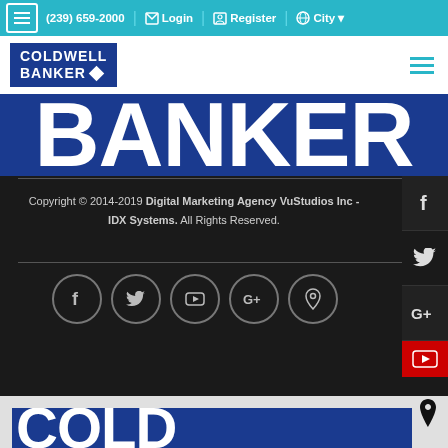(239) 659-2000  Login  Register  City
[Figure (logo): Coldwell Banker logo in blue box with white text]
[Figure (photo): Partial Coldwell Banker sign - top portion showing BANKER text cropped]
Copyright © 2014-2019 Digital Marketing Agency VuStudios Inc - IDX Systems. All Rights Reserved.
[Figure (infographic): Social media icons row: Facebook, Twitter, YouTube, Google+, Location pin - circular outlined icons]
[Figure (photo): Partial Coldwell Banker sign - bottom portion showing COLD text cropped]